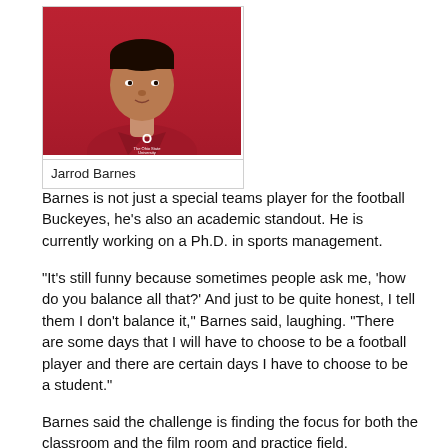[Figure (photo): Headshot of Jarrod Barnes wearing a red Ohio State University polo shirt with the 'O' logo]
Jarrod Barnes
Barnes is not just a special teams player for the football Buckeyes, he’s also an academic standout. He is currently working on a Ph.D. in sports management.
“It’s still funny because sometimes people ask me, ‘how do you balance all that?’ And just to be quite honest, I tell them I don’t balance it,” Barnes said, laughing. “There are some days that I will have to choose to be a football player and there are certain days I have to choose to be a student.”
Barnes said the challenge is finding the focus for both the classroom and the film room and practice field.